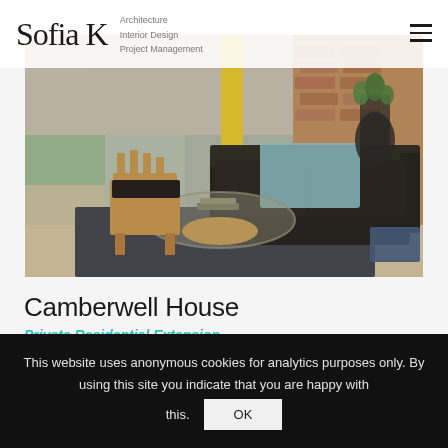Sofia K — Architecture, Interior Design, Project Management
[Figure (photo): Interior design photo showing a modern living room with a black leather sofa draped with a light blue throw, a Noguchi-style glass coffee table with wooden base, a mid-century modern wooden chair, light wood flooring, a dark area rug, and a yellow accent wall with exposed brick in the background.]
Camberwell House
Private Residential Extension
A side infill extension to this previously dark and
This website uses anonymous cookies for analytics purposes only. By using this site you indicate that you are happy with this.